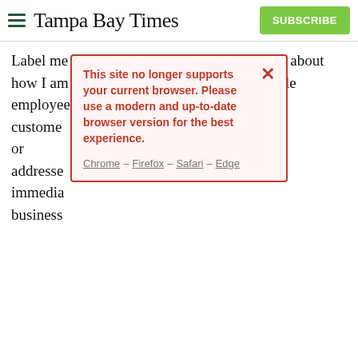Tampa Bay Times | SUBSCRIBE
Label me a hypersensitive old man for caring about how I am addressed and greeted by white male employees in customer [obscured by modal] eted or addressed [obscured] r immedia [obscured] me business [obscured]
[Figure (screenshot): Modal dialog box with red border on pink background reading: 'This site no longer supports your current browser. Please use a modern and up-to-date browser version for the best experience.' with browser links: Chrome – Firefox – Safari – Edge, and a red X close button]
Few thing [obscured] restaurant only to have a white male waiter ask, "Can I get you something, boss?" or, "How's it going, boss man?" or, "What's up, buddy?" or, "You need a menu, bud?" or, "What can I do for you, chief?"
My reaction depends on whether I'm alone or with others. If alone, I walk out without a word or stay and lecture the